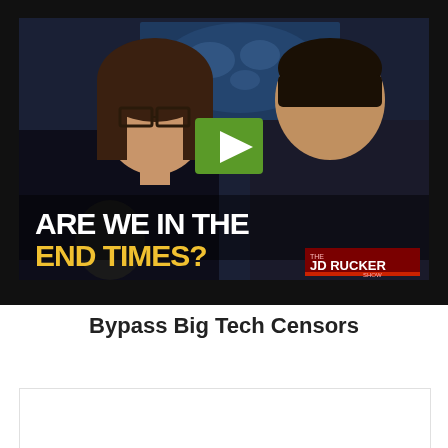[Figure (screenshot): Video thumbnail showing two people (a woman with glasses on the left and a man on the right) seated in a news studio with a world map screen behind them. A green play button is centered on the image. Bold text overlay reads 'ARE WE IN THE END TIMES?' with 'END TIMES' in yellow. The JD Rucker Show logo appears in the bottom right.]
Bypass Big Tech Censors
[Figure (other): Partially visible white box/widget at the bottom of the page, likely a subscription or input form.]